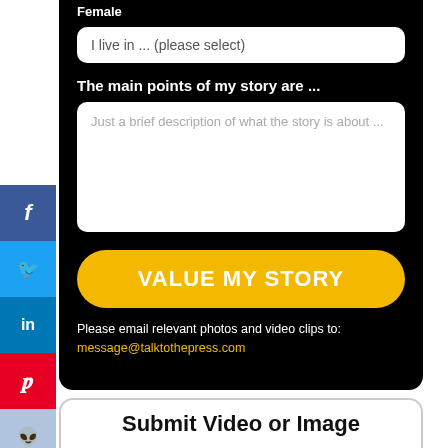Female
I live in ... (please select)
The main points of my story are ...
Just a brief description of what the story is about ...
VALUE MY STORY
Please email relevant photos and video clips to: message@talktothepress.com
Submit Video or Image